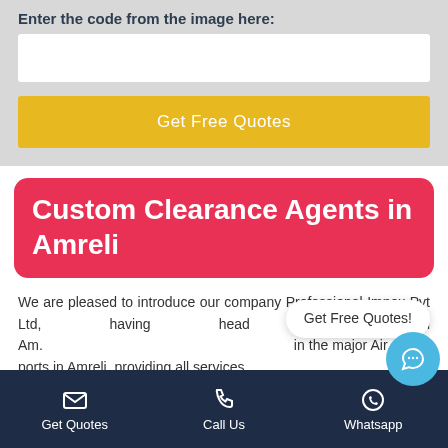Enter the code from the image here:
[Figure (screenshot): White input field for entering captcha code]
Get Free Quotes
Custom Clearance Agents in Amreli
We are pleased to introduce our company Professional Impex Pvt Ltd, having head office in Am. in the major Air & Sea ports in Amreli, providing all services
Get Free Quotes!
Get Quotes   Call Us   Whatsapp